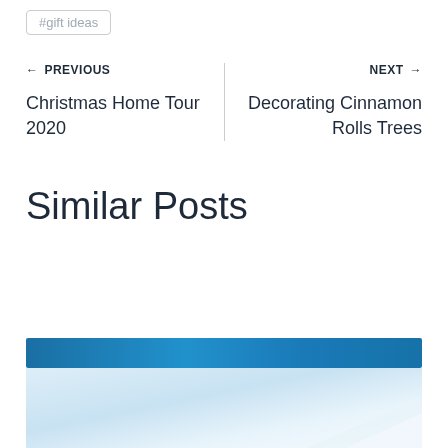#gift ideas
← PREVIOUS
Christmas Home Tour 2020
NEXT →
Decorating Cinnamon Rolls Trees
Similar Posts
[Figure (photo): Partial view of a similar posts image thumbnail with blue gradient header bar and light blue/white background]